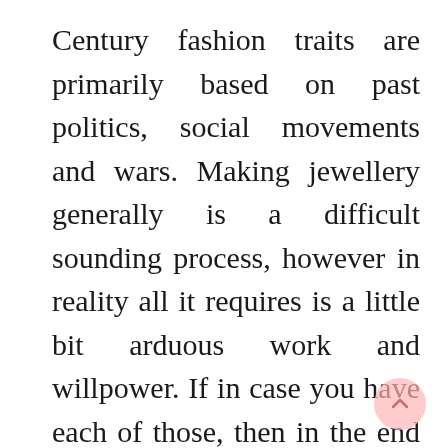Century fashion traits are primarily based on past politics, social movements and wars. Making jewellery generally is a difficult sounding process, however in reality all it requires is a little bit arduous work and willpower. If in case you have each of those, then in the end you aren't going to have much hassle in terms of making your own jewellery. Whatever sort of knickknack you need to make, the method from going to conceptualization to the ultimate product is a seven step process. The process is laid out beneath so that you can comply with.